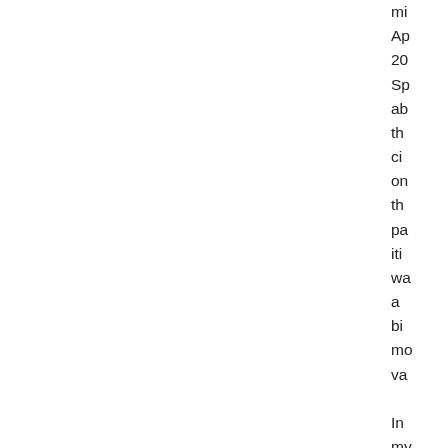mi
Ap
20
Sp
ab
th
ci
on
th
pa
iti
wa
a
bi
mo
va

In
my
na
Bo
re
we
co
World News
Catholic Family & Human Rights Institute
Catholic Fiction
Catholic Hour
Catholic Illustrator's Guild
Catholic News Agency
Catholic World Report blog
Catholic Writers
Catholic Writers Conference
CatholicVote.org
Chesterton and Friends
Christianity Today Magazine blog
Church of the Masses
Coffee and Canticles (Daria Sockey)